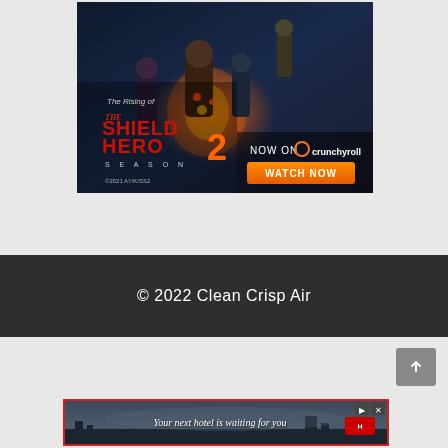[Figure (illustration): Advertisement banner for 'The Rising of the Shield Hero Season 2' anime. Dark fantasy artwork showing anime characters. Text reads 'The Rising of THE SHIELD HERO 2 SEASON' with 'NOW ON crunchyroll' and 'WATCH NOW' button. Copyright '©2021 AY/K/SS2' at bottom left.]
© 2022 Clean Crisp Air
[Figure (screenshot): Advertisement banner for hotel booking. Dark background with landscape photo of city/resort view. Text reads 'Your next hotel is waiting for you' in italic white text. Has play/pause and close (X) controls in upper right. Red border around the ad.]